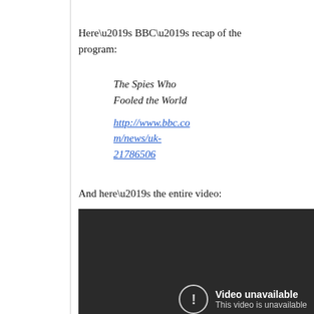Here’s BBC’s recap of the program:
The Spies Who Fooled the World
http://www.bbc.com/news/uk-21786506
And here’s the entire video:
[Figure (screenshot): Dark video player showing 'Video unavailable - This video is unavailable' message with a circle exclamation icon.]